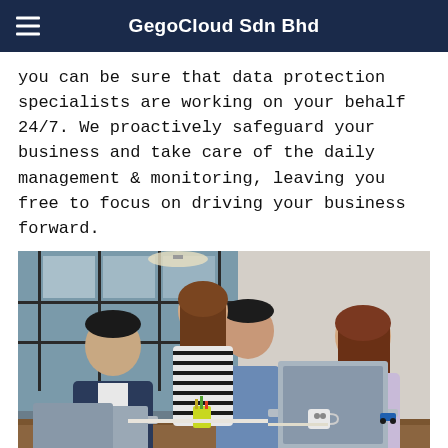GegoCloud Sdn Bhd
you can be sure that data protection specialists are working on your behalf 24/7. We proactively safeguard your business and take care of the daily management & monitoring, leaving you free to focus on driving your business forward.
[Figure (photo): Four young Asian professionals gathered around a table with laptops, collaborating in an office setting with large windows in the background. One woman is standing and leaning over while three others are seated looking at the screens.]